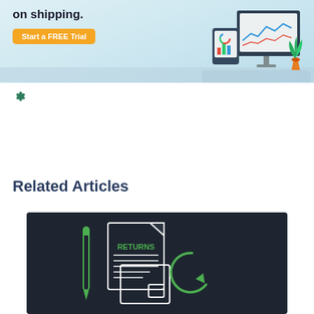[Figure (illustration): Banner advertisement showing 'on shipping.' headline with 'Start a FREE Trial' orange button, and illustrated computer/tablet setup with charts and a plant on the right side. Light blue/teal background.]
[Figure (illustration): Small gear/settings icon in dark teal/green color]
Related Articles
[Figure (illustration): Dark background card showing a RETURNS document illustration with a pen, a document labeled RETURNS in green text, horizontal lines, and a green circular arrow/return icon. Line art style in white and green on dark navy background.]